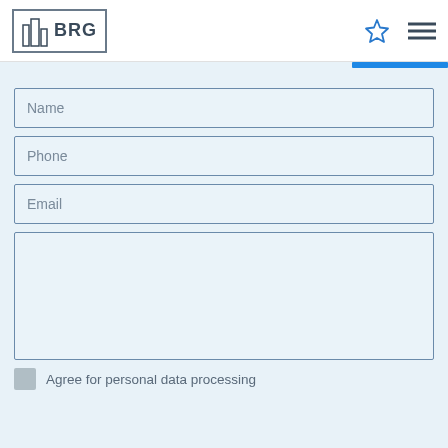BRG
Name
Phone
Email
Agree for personal data processing